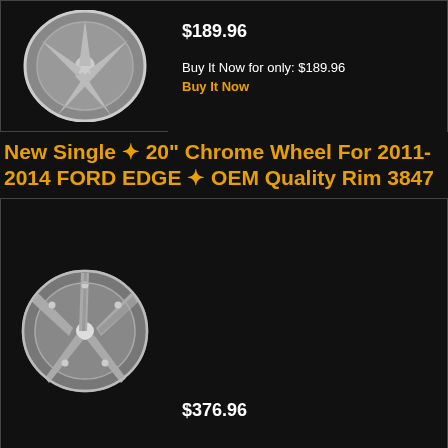[Figure (photo): Partial view of a silver/grey 5-spoke alloy wheel on dark background]
$189.96
Buy It Now for only: $189.96
Buy It Now
New Single ✦ 20" Chrome Wheel For 2011-2014 FORD EDGE ✦ OEM Quality Rim 3847
[Figure (photo): Chrome/silver 5-double-spoke alloy wheel for 2011-2014 Ford Edge, OEM Quality Rim 3847]
$376.96
Buy It Now for only: $376.96
Buy It Now
1pc Premium Black 14x1.25 Wheel Hanging Lug Bolt Guide Tool - 160mm (6.3") Length